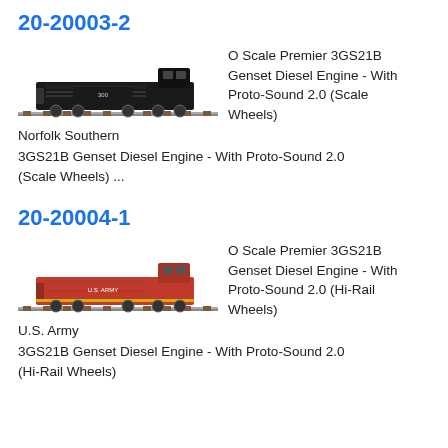20-20003-2
[Figure (photo): Black Norfolk Southern 3GS21B Genset Diesel locomotive model on track, side view]
O Scale Premier 3GS21B Genset Diesel Engine - With Proto-Sound 2.0 (Scale Wheels)
Norfolk Southern
3GS21B Genset Diesel Engine - With Proto-Sound 2.0 (Scale Wheels) ...
20-20004-1
[Figure (photo): Red U.S. Army 3GS21B Genset Diesel locomotive model on track, side view]
O Scale Premier 3GS21B Genset Diesel Engine - With Proto-Sound 2.0 (Hi-Rail Wheels)
U.S. Army
3GS21B Genset Diesel Engine - With Proto-Sound 2.0 (Hi-Rail Wheels)